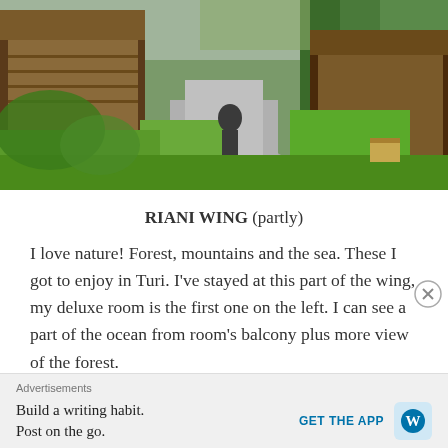[Figure (photo): Outdoor pathway between wooden resort/hotel buildings surrounded by lush tropical greenery and lawn]
RIANI WING (partly)
I love nature! Forest, mountains and the sea. These I got to enjoy in Turi. I've stayed at this part of the wing, my deluxe room is the first one on the left. I can see a part of the ocean from room's balcony plus more view of the forest.
Advertisements
Build a writing habit.
Post on the go.
GET THE APP